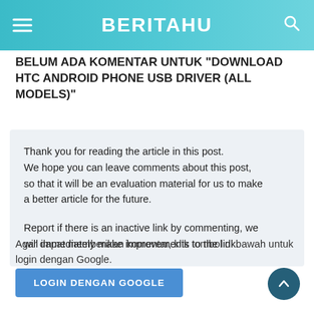BERITAHU
BELUM ADA KOMENTAR UNTUK "DOWNLOAD HTC ANDROID PHONE USB DRIVER (ALL MODELS)"
Thank you for reading the article in this post. We hope you can leave comments about this post, so that it will be an evaluation material for us to make a better article for the future.

Report if there is an inactive link by commenting, we will immediately make improvements to the link.
Agar dapat memberikan komentar, klik tombol di bawah untuk login dengan Google.
LOGIN DENGAN GOOGLE